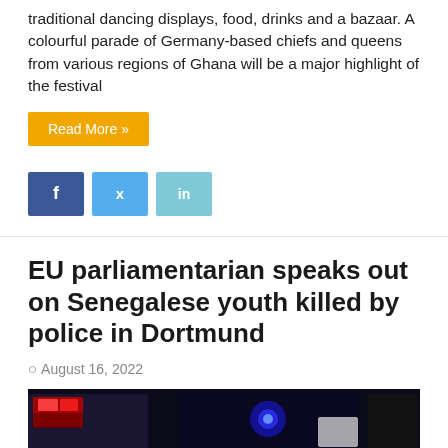traditional dancing displays, food, drinks and a bazaar. A colourful parade of Germany-based chiefs and queens from various regions of Ghana will be a major highlight of the festival
Read More »
[Figure (other): Social media share buttons: Facebook (f), Twitter (bird icon), LinkedIn (in)]
EU parliamentarian speaks out on Senegalese youth killed by police in Dortmund
August 16, 2022
[Figure (photo): Night photograph of a German police (Polizei) vehicle with flashing lights visible in darkness]